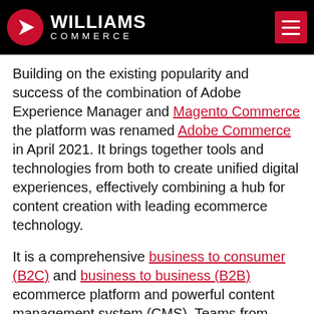WILLIAMS COMMERCE
Building on the existing popularity and success of the combination of Adobe Experience Manager and Magento Commerce the platform was renamed Adobe Commerce in April 2021. It brings together tools and technologies from both to create unified digital experiences, effectively combining a hub for content creation with leading ecommerce technology.
It is a comprehensive business to consumer (B2C) and business to business (B2B) ecommerce platform and powerful content management system (CMS). Teams from different locations can work together to create product and marketing